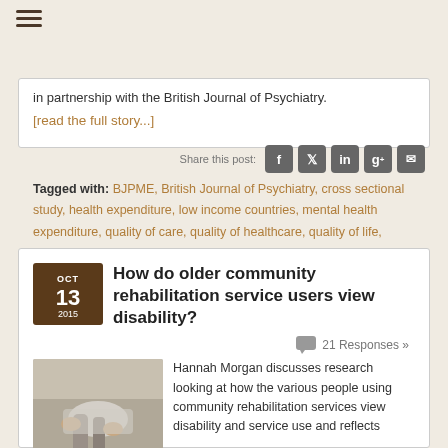in partnership with the British Journal of Psychiatry.
[read the full story...]
Share this post:
Tagged with: BJPME, British Journal of Psychiatry, cross sectional study, health expenditure, low income countries, mental health expenditure, quality of care, quality of healthcare, quality of life, rehabilitation, service user experiences, severe mental illness
How do older community rehabilitation service users view disability?
21 Responses »
[Figure (photo): Hands assisting an elderly person's leg/knee, community rehabilitation context]
Hannah Morgan discusses research looking at how the various people using community rehabilitation services view disability and service use and reflects